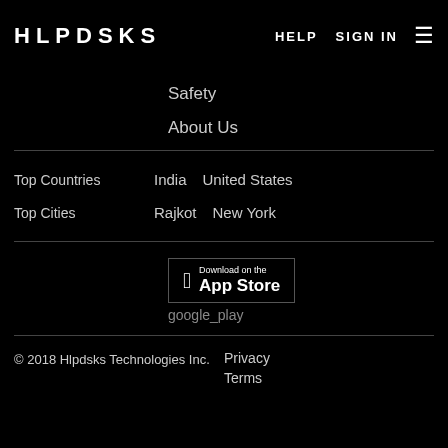HLPDSKS   HELP   SIGN IN   ≡
Safety
About Us
Top Countries   India   United States
Top Cities   Rajkot   New York
[Figure (other): Download on the App Store button and Google Play image]
© 2018 Hlpdsks Technologies Inc.   Privacy   Terms